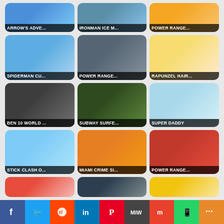[Figure (screenshot): Grid of game thumbnails: Arrow's Adventure, Ironman Ice M..., Power Range..., Spiderman Cu..., Power Range..., Rapunzel Hair..., Ben 10 World..., Subway Surfe..., Super Daddy, Stick Clash O..., Miami Crime Si..., Power Range..., Bheem (partial), unknown drone game (partial), yellow game (partial)]
[Figure (infographic): Social sharing bar at bottom with buttons: Facebook, Twitter, Reddit, LinkedIn, Pinterest, MiW, Mix, WhatsApp, More]